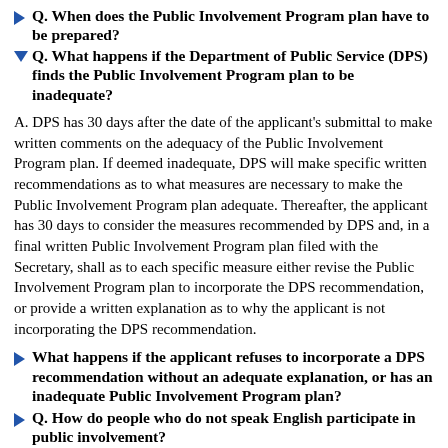Q. When does the Public Involvement Program plan have to be prepared?
Q. What happens if the Department of Public Service (DPS) finds the Public Involvement Program plan to be inadequate?
A. DPS has 30 days after the date of the applicant's submittal to make written comments on the adequacy of the Public Involvement Program plan. If deemed inadequate, DPS will make specific written recommendations as to what measures are necessary to make the Public Involvement Program plan adequate. Thereafter, the applicant has 30 days to consider the measures recommended by DPS and, in a final written Public Involvement Program plan filed with the Secretary, shall as to each specific measure either revise the Public Involvement Program plan to incorporate the DPS recommendation, or provide a written explanation as to why the applicant is not incorporating the DPS recommendation.
What happens if the applicant refuses to incorporate a DPS recommendation without an adequate explanation, or has an inadequate Public Involvement Program plan?
Q. How do people who do not speak English participate in public involvement?
Q. What is the function of the Office of Public Information